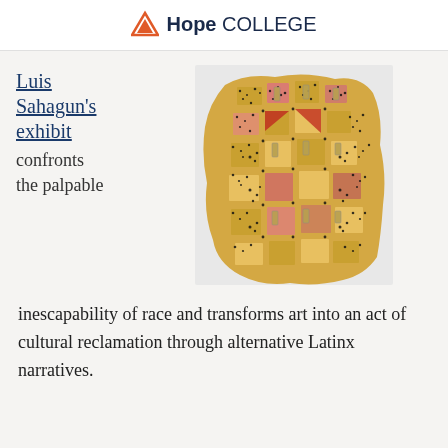Hope College
Luis Sahagun's exhibit confronts the palpable
[Figure (photo): Textile artwork with woven pattern in yellow/gold, black, red, and pink tones, with irregular organic edges, displayed on a light background]
inescapability of race and transforms art into an act of cultural reclamation through alternative Latinx narratives.